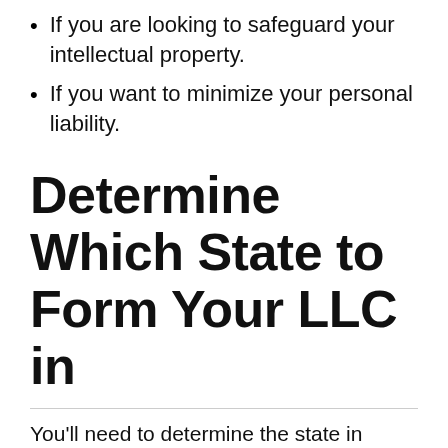If you are looking to safeguard your intellectual property.
If you want to minimize your personal liability.
Determine Which State to Form Your LLC in
You'll need to determine the state in which you'd like to create your LLC in. You can form your LLC anywhere, but there are a variety of